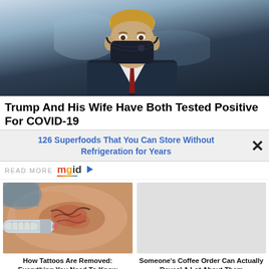[Figure (photo): Person wearing a dark face mask, seen from shoulders up, wearing a dark suit and red tie against a blurred blue-grey background]
Trump And His Wife Have Both Tested Positive For COVID-19
126 Superfoods That You Can Store Without Refrigeration for Years
READ MORE mgid
[Figure (photo): Close-up photo of a tattoo removal procedure showing a syringe near scarred skin]
How Tattoos Are Removed: Everything You Need To Know
Someone's Coffee Order Can Actually Reveal A Lot About Them